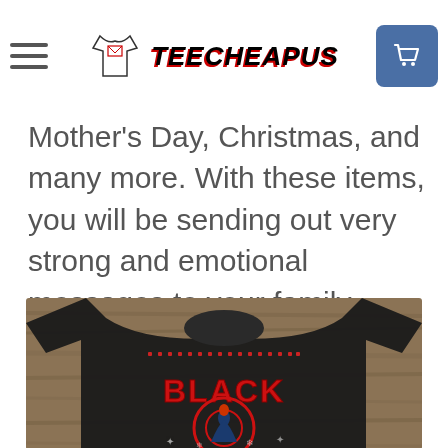TeeCheapus navigation bar with hamburger menu, logo, and cart button
used for a memorable Birthday, Valentines... Mother's Day, Christmas, and many more. With these items, you will be sending out very strong and emotional messages to your family.
[Figure (photo): Black t-shirt with a Black Widow ugly Christmas sweater style graphic design, displayed on a wooden surface background]